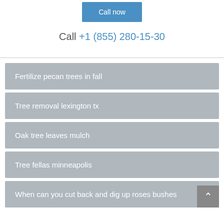Call now
Call +1 (855) 280-15-30
Fertilize pecan trees in fall
Tree removal lexington tx
Oak tree leaves mulch
Tree fellas minneapolis
When can you cut back and dig up roses bushes